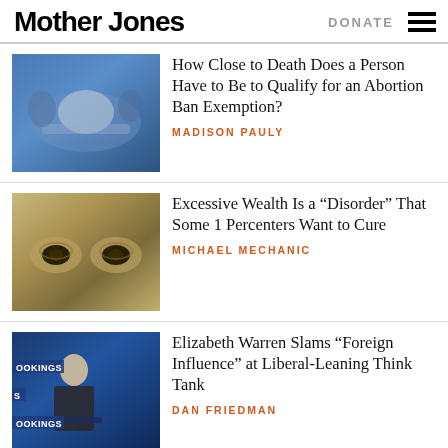Mother Jones | DONATE
How Close to Death Does a Person Have to Be to Qualify for an Abortion Ban Exemption?
MADISON PAULY
Excessive Wealth Is a “Disorder” That Some 1 Percenters Want to Cure
MICHAEL MECHANIC
Elizabeth Warren Slams “Foreign Influence” at Liberal-Leaning Think Tank
DAN FRIEDMAN